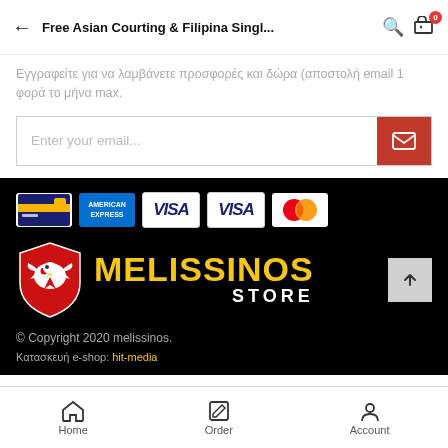Free Asian Courting & Filipina Singl...
Εγγραφείτε για να λαμβάνετε προσφορές και δώρα (αποστολή email 1 φορά το μήνα max.
[Figure (screenshot): Email subscription input field with red submit button showing envelope icon]
[Figure (logo): Payment method icons: credit card, American Express, VISA x2, Mastercard]
[Figure (logo): Melissinos Store logo: red shield with white eagle, yellow MELISSINOS text, white STORE text on black background]
© Copyright 2020 melissinos. Κατασκευή e-shop: hit-media
Home  Order  Account